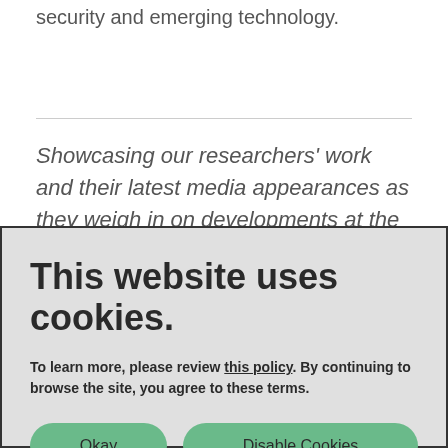security and emerging technology.
Showcasing our researchers' work and their latest media appearances as they weigh in on developments at the intersection of national
This website uses cookies.
To learn more, please review this policy. By continuing to browse the site, you agree to these terms.
Okay
Disable Cookies